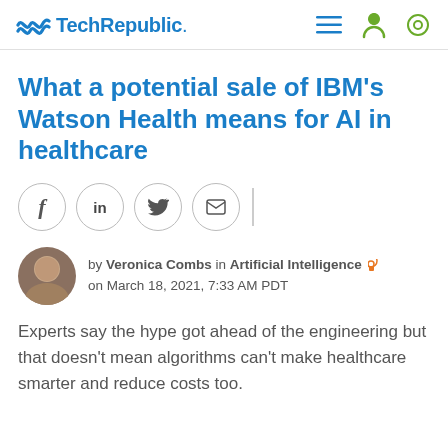TechRepublic
What a potential sale of IBM's Watson Health means for AI in healthcare
[Figure (other): Social share buttons: Facebook, LinkedIn, Twitter, Email]
by Veronica Combs in Artificial Intelligence on March 18, 2021, 7:33 AM PDT
Experts say the hype got ahead of the engineering but that doesn't mean algorithms can't make healthcare smarter and reduce costs too.